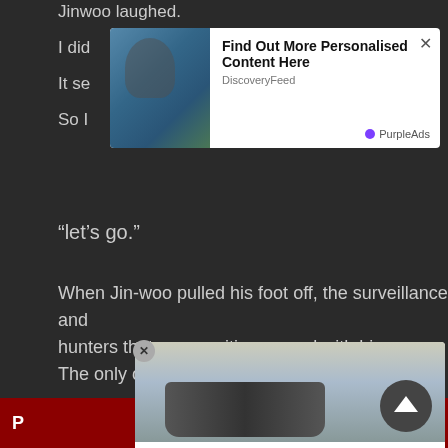Jinwoo laughed.
I did
It se...ugh.
So I
[Figure (screenshot): Ad popup overlay: person with backpack reaching hand, text 'Find Out More Personalised Content Here', source 'DiscoveryFeed', brand 'PurpleAds']
“let’s go.”
When Jin-woo pulled his foot off, the surveillance and hunters that were waiting moved with him.
The only one.
‘Ah...’
The car Haen, who could not attach a word to Jinwoo, tried t
[Figure (screenshot): Ad popup overlay: SUV car image, text 'Shop the Best New & Used Car Deals in Your Area ?', source 'Car Deals Near You', brand 'PurpleAds']
P